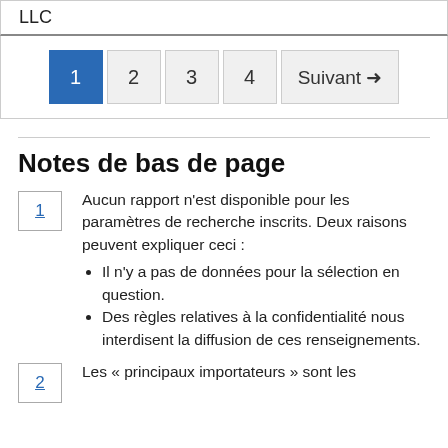LLC
[Figure (other): Pagination control showing buttons: 1 (active/blue), 2, 3, 4, Suivant →]
Notes de bas de page
1 — Aucun rapport n'est disponible pour les paramètres de recherche inscrits. Deux raisons peuvent expliquer ceci : • Il n'y a pas de données pour la sélection en question. • Des règles relatives à la confidentialité nous interdisent la diffusion de ces renseignements.
2 — Les « principaux importateurs » sont les